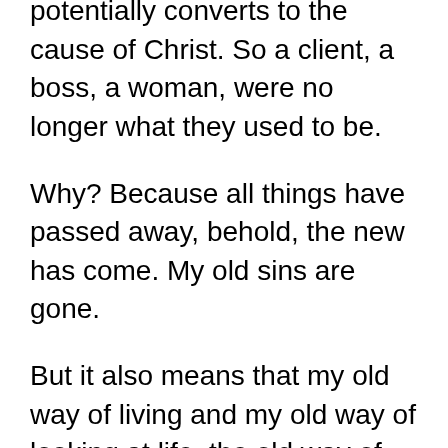potentially converts to the cause of Christ. So a client, a boss, a woman, were no longer what they used to be.
Why? Because all things have passed away, behold, the new has come. My old sins are gone.
But it also means that my old way of living and my old way of looking at life, the old way of life, my old way of elevating people, all of that is also gone.
So after being in the US for ten years, by then very well established and by then